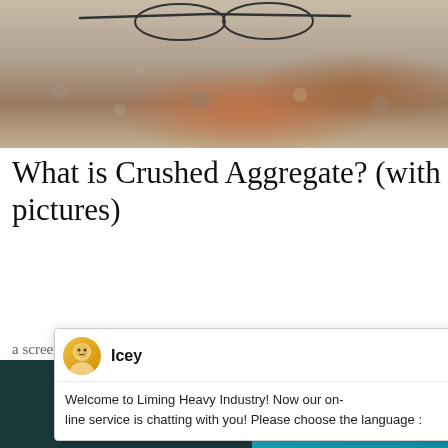[Figure (photo): Aerial or close-up photo of crushed stone aggregate and sand with what appears to be glasses or wire frame in the upper portion]
What is Crushed Aggregate? (with pictures)
a screen shaker or during the washing process asher. If the aggregate
Capacity
482T/H
[Figure (screenshot): Chat popup overlay from Liming Heavy Industry with agent named Icey. Message reads: Welcome to Liming Heavy Industry! Now our on-line service is chatting with you! Please choose the language :]
[Figure (screenshot): Teal chat widget on right side with game/chat interface elements, badge showing 1, Click me to chat button, and Enquiry section]
Chat Online